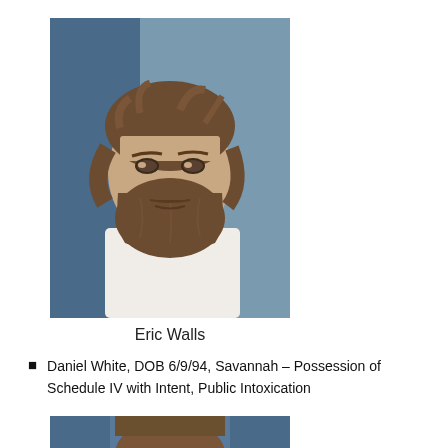[Figure (photo): Mugshot of Eric Walls, a young white male with long brown hair, beard, and white tank top, standing in front of a blue wall]
Eric Walls
Daniel White, DOB 6/9/94, Savannah – Possession of Schedule IV with Intent, Public Intoxication
[Figure (photo): Partial mugshot photo cropped at bottom of page, showing top of head with blue background]